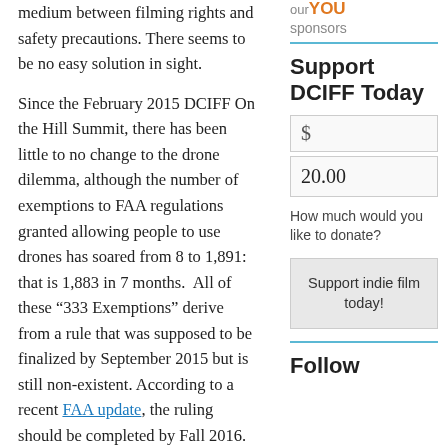medium between filming rights and safety precautions. There seems to be no easy solution in sight.
Since the February 2015 DCIFF On the Hill Summit, there has been little to no change to the drone dilemma, although the number of exemptions to FAA regulations granted allowing people to use drones has soared from 8 to 1,891: that is 1,883 in 7 months. All of these “333 Exemptions” derive from a rule that was supposed to be finalized by September 2015 but is still non-existent. According to a recent FAA update, the ruling should be completed by Fall 2016. Meanwhile, the federal government has just announced that all recreational drones must be
[Figure (other): our YOU sponsors logo/text in orange and grey]
Support DCIFF Today
$
20.00
How much would you like to donate?
Support indie film today!
Follow